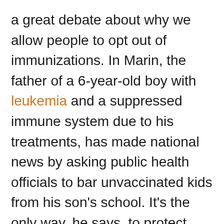a great debate about why we allow people to opt out of immunizations. In Marin, the father of a 6-year-old boy with leukemia and a suppressed immune system due to his treatments, has made national news by asking public health officials to bar unvaccinated kids from his son's school. It's the only way, he says, to protect him son from a potentially deadly infection.
The issue of personal belief exemptions, vaccination science and perceived links to autism, which persist despite a complete lack of scientific basis, illustrate just how persistent myths can become, and